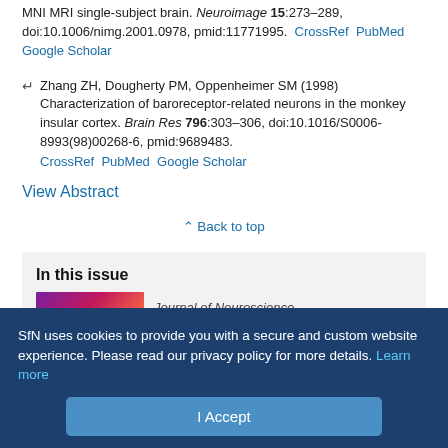MNI MRI single-subject brain. Neuroimage 15:273–289, doi:10.1006/nimg.2001.0978, pmid:11771995. CrossRef PubMed Google Scholar
Zhang ZH, Dougherty PM, Oppenheimer SM (1998) Characterization of baroreceptor-related neurons in the monkey insular cortex. Brain Res 796:303–306, doi:10.1016/S0006-8993(98)00268-6, pmid:9689483. CrossRef PubMed Google Scholar
View Abstract
Back to top
In this issue
[Figure (photo): Thumbnail image of journal cover for 'Journal of Neuroscience' issue]
Journal of Neuroscience
SfN uses cookies to provide you with a secure and custom website experience. Please read our privacy policy for more details. Learn more
I Accept